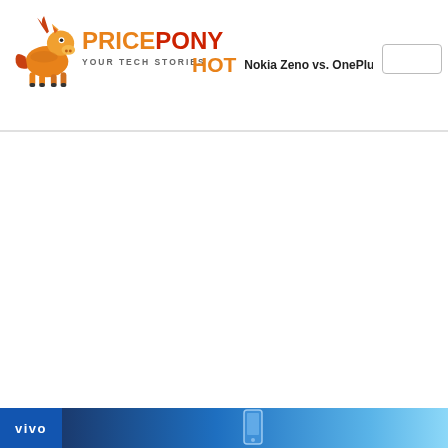PricePony - Your Tech Stories | HOT: Nokia Zeno vs. OnePlus Nord 2T 5G: 12GB RAM
[Figure (logo): PricePony website logo with a cartoon pony mascot and text 'PRICEPONY - YOUR TECH STORIES']
HOT  Nokia Zeno vs. OnePlus Nord 2T 5G: 12GB RAM
[Figure (photo): White background main content area (no article content loaded)]
[Figure (infographic): Bottom banner advertisement for Vivo brand with blue gradient background and phone silhouette]